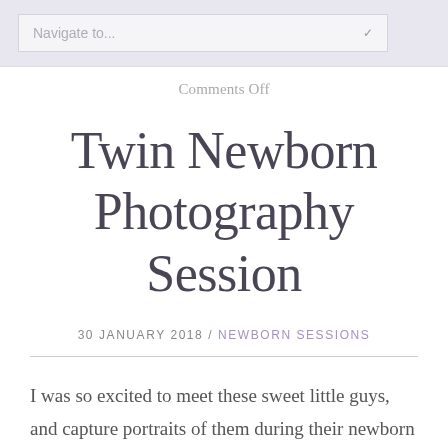Navigate to...
Comments Off
Twin Newborn Photography Session
30 JANUARY 2018 / NEWBORN SESSIONS
I was so excited to meet these sweet little guys, and capture portraits of them during their newborn session. They are so identical looking, and during